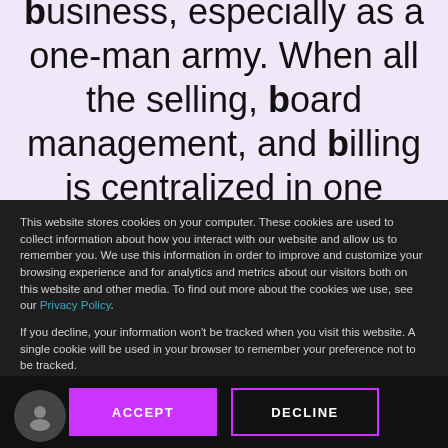parts to the billboard business, especially as a one-man army. When all the selling, board management, and billing is centralized in one place like OneScreen.ai's
This website stores cookies on your computer. These cookies are used to collect information about how you interact with our website and allow us to remember you. We use this information in order to improve and customize your browsing experience and for analytics and metrics about our visitors both on this website and other media. To find out more about the cookies we use, see our Privacy Policy.
If you decline, your information won't be tracked when you visit this website. A single cookie will be used in your browser to remember your preference not to be tracked.
ACCEPT
DECLINE